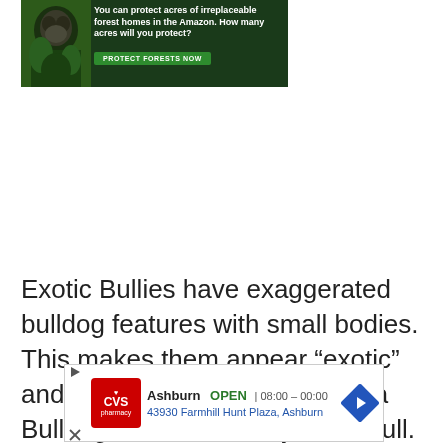[Figure (illustration): Advertisement banner showing a gorilla in a dark green Amazon rainforest background with text 'You can protect acres of irreplaceable forest homes in the Amazon. How many acres will you protect?' and a green 'PROTECT FORESTS NOW' button]
Exotic Bullies have exaggerated bulldog features with small bodies. This makes them appear “exotic” and like a shrunken version of a Bulldog, American Bully, or Pitbull.
[Figure (screenshot): CVS Pharmacy advertisement showing store location in Ashburn, OPEN 08:00 - 00:00, address 43930 Farmville Hunt Plaza, Ashburn, with navigation arrow icon]